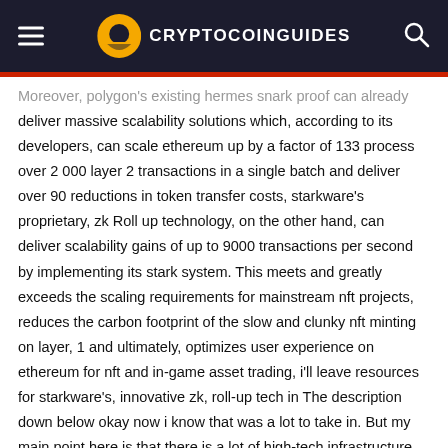CRYPTOCOINGUIDES
Moreover, polygon's existing hermes snark proof can already deliver massive scalability solutions which, according to its developers, can scale ethereum up by a factor of 133 process over 2 000 layer 2 transactions in a single batch and deliver over 90 reductions in token transfer costs, starkware's proprietary, zk Roll up technology, on the other hand, can deliver scalability gains of up to 9000 transactions per second by implementing its stark system. This meets and greatly exceeds the scaling requirements for mainstream nft projects, reduces the carbon footprint of the slow and clunky nft minting on layer, 1 and ultimately, optimizes user experience on ethereum for nft and in-game asset trading, i'll leave resources for starkware's, innovative zk, roll-up tech in The description down below okay now i know that was a lot to take in. But my main point here is that there is a lot of high-tech infrastructure behind immutable x, which gives it some key usability advantages when it comes to this usability developers. Looking to mint nfts on its platform can do so directly on layer 2,